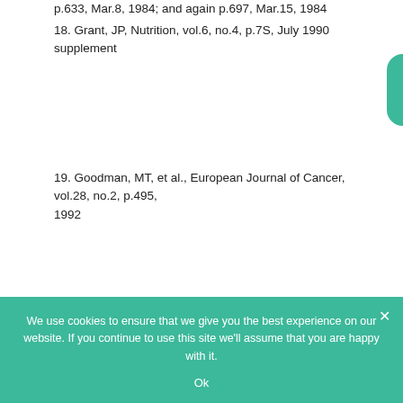p.633, Mar.8, 1984; and again p.697, Mar.15, 1984
18. Grant, JP, Nutrition, vol.6, no.4, p.7S, July 1990 supplement
19. Goodman, MT, et al., European Journal of Cancer, vol.28, no.2, p.495, 1992
We use cookies to ensure that we give you the best experience on our website. If you continue to use this site we'll assume that you are happy with it.
Ok